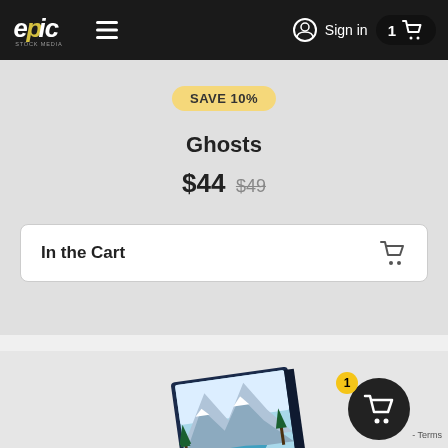Epic Stock Media — Sign in — Cart 1
SAVE 10%
Ghosts
$44  $49
In the Cart
[Figure (photo): Product box for 'Winter Forest Canada' sound library, showing a painted winter landscape with snowy trees, mountains and a river. Box label reads 'Wonders of Nature WINTER FOREST CANADA'.]